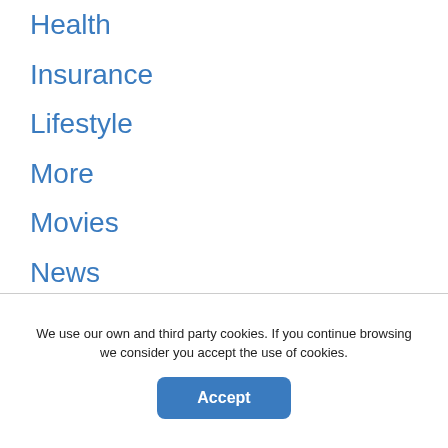Health
Insurance
Lifestyle
More
Movies
News
Online Games
Other
Politics
Recipes
We use our own and third party cookies. If you continue browsing we consider you accept the use of cookies.
Accept